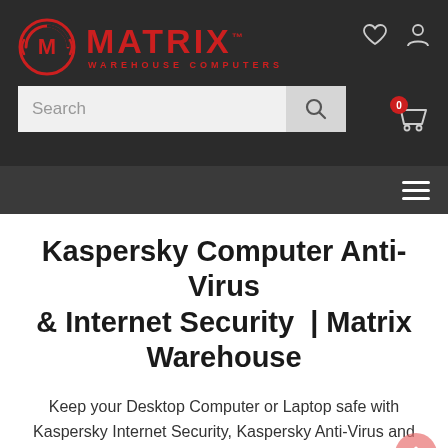[Figure (logo): Matrix Warehouse Computers logo — circular M icon in red on dark background, with MATRIX in large red letters and WAREHOUSE COMPUTERS in small red spaced letters below]
Kaspersky Computer Anti-Virus & Internet Security  | Matrix Warehouse
Keep your Desktop Computer or Laptop safe with Kaspersky Internet Security, Kaspersky Anti-Virus and Kaspersky Total Security PC Software Protection which